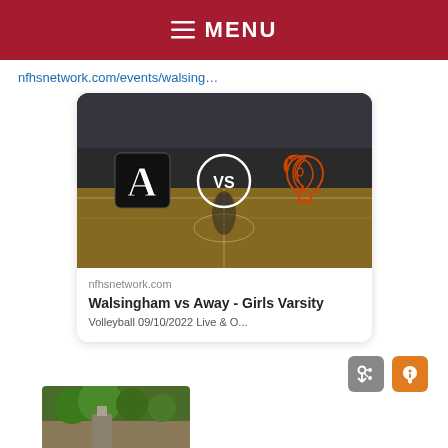≡ MENU
nfhsnetwork.com/events/walsing…
[Figure (screenshot): NFHS Network event card showing two team logos (Letter A logo vs Spartan helmet logo) with VS circle in center, over a basketball court background. Card shows site: nfhsnetwork.com and title: Walsingham vs Away - Girls Varsity Volleyball 09/10/2022 Live & On...]
[Figure (photo): Partial photo at bottom of page showing outdoor scene with trees and what appears to be a building or banner.]